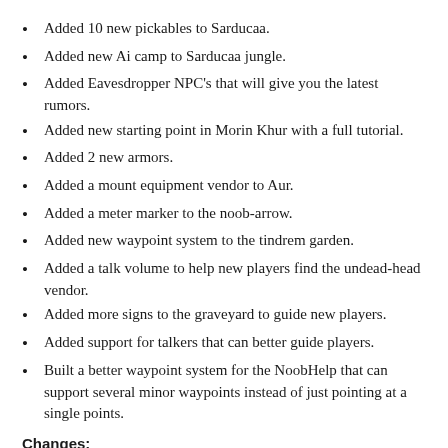Added 10 new pickables to Sarducaa.
Added new Ai camp to Sarducaa jungle.
Added Eavesdropper NPC's that will give you the latest rumors.
Added new starting point in Morin Khur with a full tutorial.
Added 2 new armors.
Added a mount equipment vendor to Aur.
Added a meter marker to the noob-arrow.
Added new waypoint system to the tindrem garden.
Added a talk volume to help new players find the undead-head vendor.
Added more signs to the graveyard to guide new players.
Added support for talkers that can better guide players.
Built a better waypoint system for the NoobHelp that can support several minor waypoints instead of just pointing at a single points.
Changes: